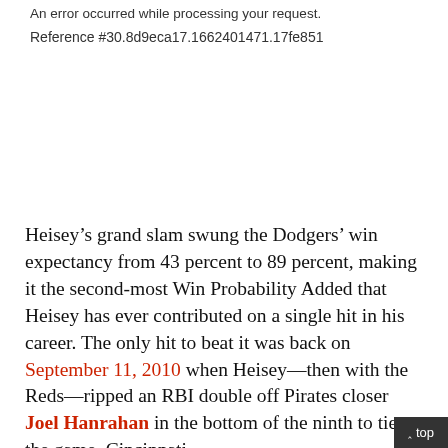An error occurred while processing your request. Reference #30.8d9eca17.1662401471.17fe851
Heisey’s grand slam swung the Dodgers’ win expectancy from 43 percent to 89 percent, making it the second-most Win Probability Added that Heisey has ever contributed on a single hit in his career. The only hit to beat it was back on September 11, 2010 when Heisey—then with the Reds—ripped an RBI double off Pirates closer Joel Hanrahan in the bottom of the ninth to tie the game. Cincinnatti
^ top